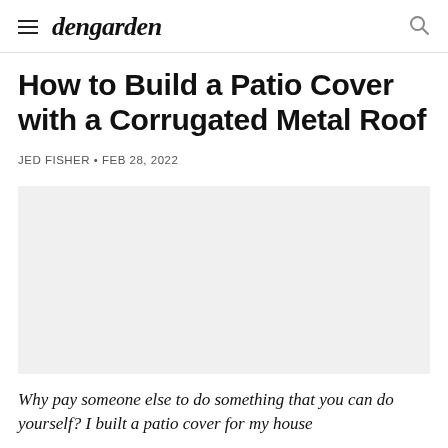dengarden
How to Build a Patio Cover with a Corrugated Metal Roof
JED FISHER • FEB 28, 2022
[Figure (photo): Image placeholder for patio cover with corrugated metal roof]
Why pay someone else to do something that you can do yourself? I built a patio cover for my house